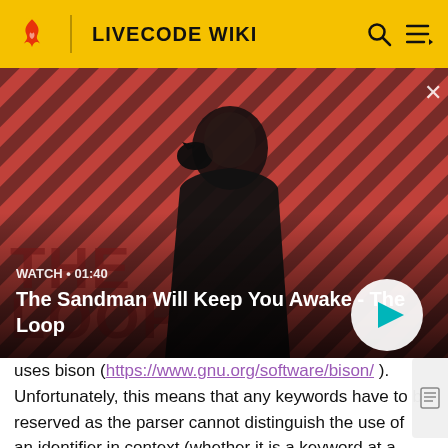LIVECODE WIKI
[Figure (screenshot): Video thumbnail for 'The Sandman Will Keep You Awake - The Loop' showing a man in dark clothing with a raven on his shoulder against a red diagonal striped background. Duration shown as 01:40.]
uses bison (https://www.gnu.org/software/bison/ ). Unfortunately, this means that any keywords have to be reserved as the parser cannot distinguish the use of an identifier in context (whether it is a keyword at a particular point, or a name of a definition).